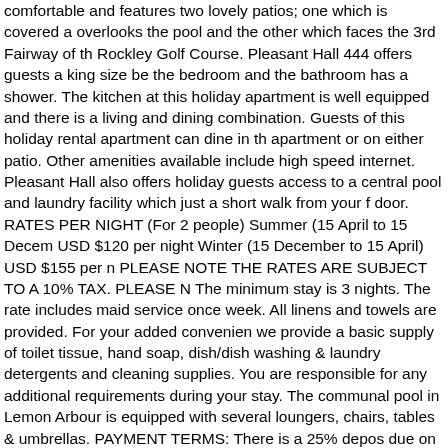comfortable and features two lovely patios; one which is covered and overlooks the pool and the other which faces the 3rd Fairway of the Rockley Golf Course. Pleasant Hall 444 offers guests a king size bed in the bedroom and the bathroom has a shower. The kitchen at this holiday apartment is well equipped and there is a living and dining combination. Guests of this holiday rental apartment can dine in the apartment or on either patio. Other amenities available include high speed internet. Pleasant Hall also offers holiday guests access to a central pool and laundry facility which just a short walk from your front door. RATES PER NIGHT (For 2 people) Summer (15 April to 15 December) USD $120 per night Winter (15 December to 15 April) USD $155 per night PLEASE NOTE THE RATES ARE SUBJECT TO A 10% TAX. PLEASE NOTE The minimum stay is 3 nights. The rate includes maid service once a week. All linens and towels are provided. For your added convenience we provide a basic supply of toilet tissue, hand soap, dish/dish washing & laundry detergents and cleaning supplies. You are responsible for any additional requirements during your stay. The communal pool in Lemon Arbour is equipped with several loungers, chairs, tables & umbrellas. PAYMENT TERMS: There is a 25% deposit due on booking. Balance of payment is due 30 to 60 days prior to arrival. Payment can be made with Visa, Master Card or wire transfer.